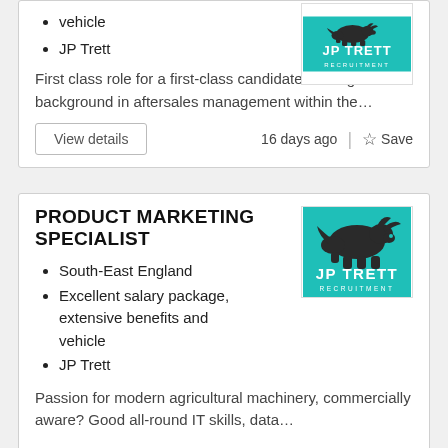vehicle
JP Trett
First class role for a first-class candidate! Strong background in aftersales management within the…
[Figure (logo): JP Trett Recruitment logo — teal background with bull silhouette and text JP TRETT RECRUITMENT]
View details   16 days ago  |  ☆ Save
PRODUCT MARKETING SPECIALIST
South-East England
Excellent salary package, extensive benefits and vehicle
JP Trett
[Figure (logo): JP Trett Recruitment logo — teal background with bull silhouette and text JP TRETT RECRUITMENT]
Passion for modern agricultural machinery, commercially aware? Good all-round IT skills, data…